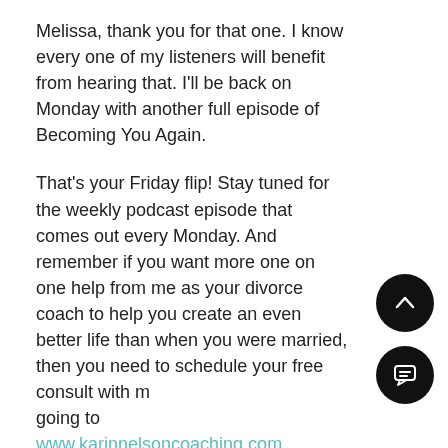Melissa, thank you for that one. I know every one of my listeners will benefit from hearing that. I'll be back on Monday with another full episode of Becoming You Again.
That's your Friday flip! Stay tuned for the weekly podcast episode that comes out every Monday. And remember if you want more one on one help from me as your divorce coach to help you create an even better life than when you were married, then you need to schedule your free consult with me going to www.karinnelsoncoaching.com Remember that's Karin with an 'I'.